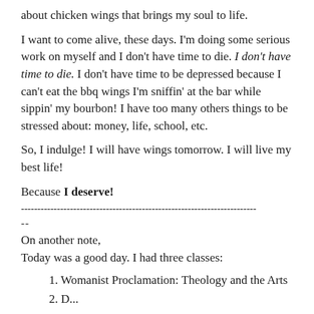about chicken wings that brings my soul to life.
I want to come alive, these days. I'm doing some serious work on myself and I don't have time to die. I don't have time to die. I don't have time to be depressed because I can't eat the bbq wings I'm sniffin' at the bar while sippin' my bourbon! I have too many others things to be stressed about: money, life, school, etc.
So, I indulge! I will have wings tomorrow. I will live my best life!
Because I deserve!
------------------------------------------------------------------------
--
On another note,
Today was a good day. I had three classes:
1. Womanist Proclamation: Theology and the Arts
2. [partially visible]